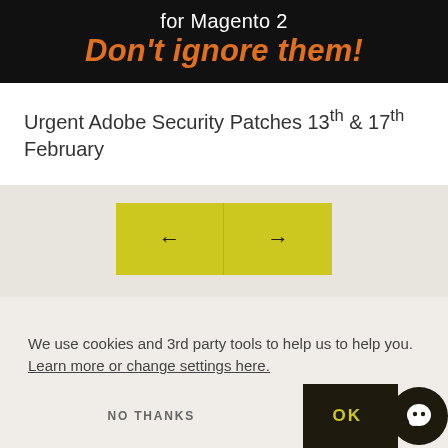for Magento 2 Don't ignore them!
Urgent Adobe Security Patches 13th & 17th February
[Figure (other): Navigation arrows: left arrow and right arrow buttons in yellow-green background]
We use cookies and 3rd party tools to help us to help you. Learn more or change settings here.
NO THANKS  OK